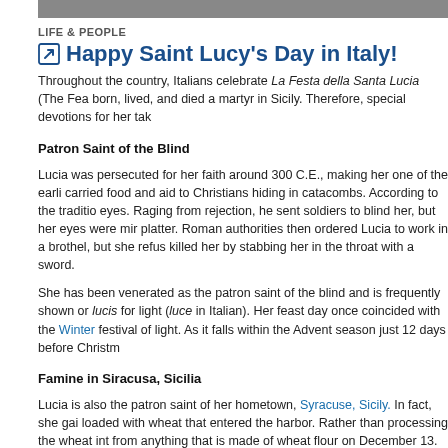[Figure (photo): Cropped photo strip at top of page, showing people]
LIFE & PEOPLE
Happy Saint Lucy's Day in Italy!
Throughout the country, Italians celebrate La Festa della Santa Lucia (The Fea born, lived, and died a martyr in Sicily. Therefore, special devotions for her tak
Patron Saint of the Blind
Lucia was persecuted for her faith around 300 C.E., making her one of the earli carried food and aid to Christians hiding in catacombs. According to the traditio eyes. Raging from rejection, he sent soldiers to blind her, but her eyes were mir platter. Roman authorities then ordered Lucia to work in a brothel, but she refus killed her by stabbing her in the throat with a sword.
She has been venerated as the patron saint of the blind and is frequently shown or lucis for light (luce in Italian). Her feast day once coincided with the Winter festival of light. As it falls within the Advent season just 12 days before Christm
Famine in Siracusa, Sicilia
Lucia is also the patron saint of her hometown, Syracuse, Sicily. In fact, she gai loaded with wheat that entered the harbor. Rather than processing the wheat int from anything that is made of wheat flour on December 13. Traditionally, they with ricotta and honey.
Today's Celebrations
Typically on this day, Italians gather together, burn candles and torches, and enj region.